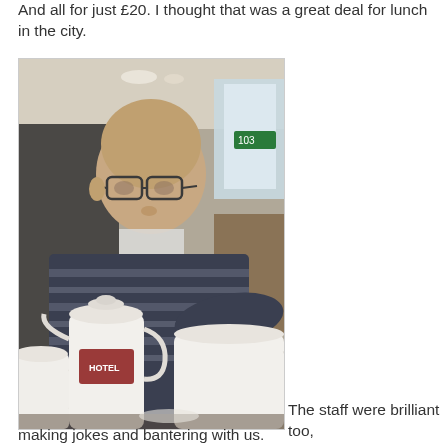And all for just £20. I thought that was a great deal for lunch in the city.
[Figure (photo): A man with glasses wearing a striped jumper seated at a restaurant table with white teapots and tea service in the foreground. The setting appears to be a hotel or upscale restaurant interior.]
The staff were brilliant too, making jokes and bantering with us.